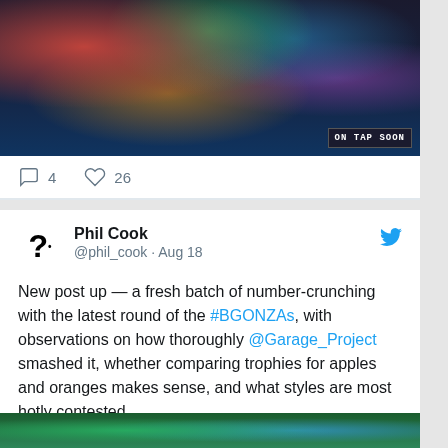[Figure (photo): Interior of a bar with colorful hanging lamps (red, green, teal, yellow) over a busy bar area with bottles and an 'ON TAP SOON' sign]
4   26
Phil Cook @phil_cook · Aug 18
New post up — a fresh batch of number-crunching with the latest round of the #BGONZAs, with observations on how thoroughly @Garage_Project smashed it, whether comparing trophies for apples and oranges makes sense, and what styles are most hotly contested.
philcook.net/beerdiary/2022…
[Figure (photo): Bottom strip showing greenery/garden scene, partially visible]